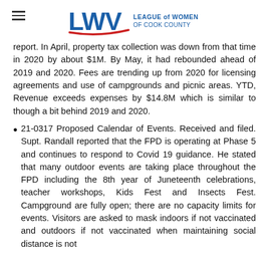LWV League of Women Voters of Cook County
report. In April, property tax collection was down from that time in 2020 by about $1M. By May, it had rebounded ahead of 2019 and 2020. Fees are trending up from 2020 for licensing agreements and use of campgrounds and picnic areas. YTD, Revenue exceeds expenses by $14.8M which is similar to though a bit behind 2019 and 2020.
21-0317 Proposed Calendar of Events. Received and filed. Supt. Randall reported that the FPD is operating at Phase 5 and continues to respond to Covid 19 guidance. He stated that many outdoor events are taking place throughout the FPD including the 8th year of Juneteenth celebrations, teacher workshops, Kids Fest and Insects Fest. Campground are fully open; there are no capacity limits for events. Visitors are asked to mask indoors if not vaccinated and outdoors if not vaccinated when maintaining social distance is not